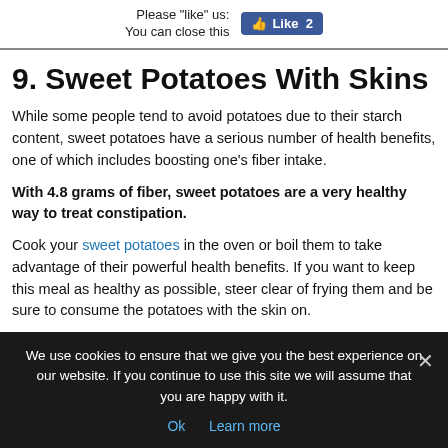Please "like" us: Like 2
You can close this
9. Sweet Potatoes With Skins
While some people tend to avoid potatoes due to their starch content, sweet potatoes have a serious number of health benefits, one of which includes boosting one’s fiber intake.
With 4.8 grams of fiber, sweet potatoes are a very healthy way to treat constipation.
Cook your sweet potatoes in the oven or boil them to take advantage of their powerful health benefits. If you want to keep this meal as healthy as possible, steer clear of frying them and be sure to consume the potatoes with the skin on.
We use cookies to ensure that we give you the best experience on our website. If you continue to use this site we will assume that you are happy with it.
Ok   Learn more